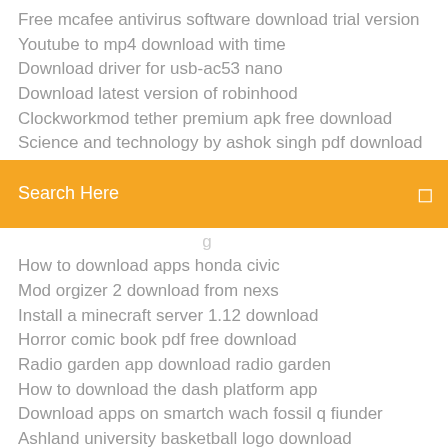Free mcafee antivirus software download trial version
Youtube to mp4 download with time
Download driver for usb-ac53 nano
Download latest version of robinhood
Clockworkmod tether premium apk free download
Science and technology by ashok singh pdf download
[Figure (other): Orange search bar with text 'Search Here' and a search icon on the right]
How to download apps honda civic
Mod orgizer 2 download from nexs
Install a minecraft server 1.12 download
Horror comic book pdf free download
Radio garden app download radio garden
How to download the dash platform app
Download apps on smartch wach fossil q fiunder
Ashland university basketball logo download
Download rca android usb driver for windows
Free icredimail download for android tablet